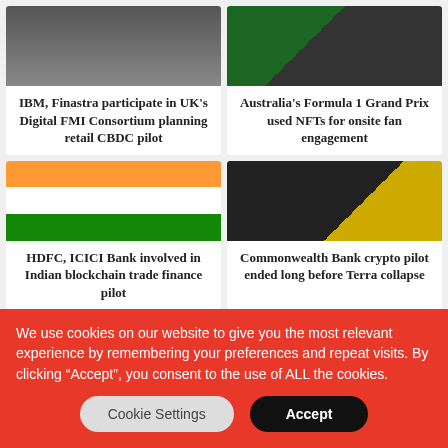[Figure (photo): Dark tech/server image placeholder for IBM/Finastra article]
[Figure (photo): Green racing/F1 image placeholder for Australia Formula 1 article]
IBM, Finastra participate in UK's Digital FMI Consortium planning retail CBDC pilot
Australia's Formula 1 Grand Prix used NFTs for onsite fan engagement
[Figure (photo): Stacked shipping containers with Indian flag markings]
[Figure (photo): Man in dark suit on stage with yellow background]
HDFC, ICICI Bank involved in Indian blockchain trade finance pilot
Commonwealth Bank crypto pilot ended long before Terra collapse
[Figure (photo): Building exterior with globe logo, partial view]
We use cookies on our website to give you the most relevant experience by remembering your preferences and repeat visits. By clicking “Accept”, you consent to the use of ALL the cookies.
Cookie Settings
Accept